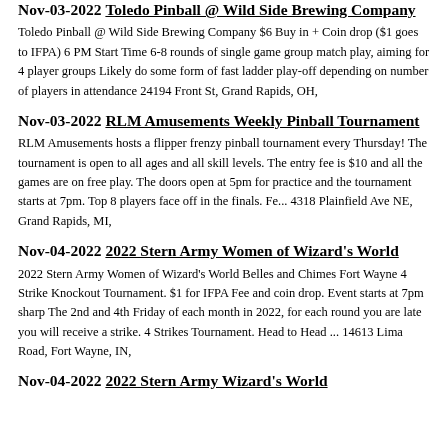Nov-03-2022 Toledo Pinball @ Wild Side Brewing Company
Toledo Pinball @ Wild Side Brewing Company $6 Buy in + Coin drop ($1 goes to IFPA) 6 PM Start Time 6-8 rounds of single game group match play, aiming for 4 player groups Likely do some form of fast ladder play-off depending on number of players in attendance 24194 Front St, Grand Rapids, OH,
Nov-03-2022 RLM Amusements Weekly Pinball Tournament
RLM Amusements hosts a flipper frenzy pinball tournament every Thursday! The tournament is open to all ages and all skill levels. The entry fee is $10 and all the games are on free play. The doors open at 5pm for practice and the tournament starts at 7pm. Top 8 players face off in the finals. Fe... 4318 Plainfield Ave NE, Grand Rapids, MI,
Nov-04-2022 2022 Stern Army Women of Wizard's World
2022 Stern Army Women of Wizard's World Belles and Chimes Fort Wayne 4 Strike Knockout Tournament. $1 for IFPA Fee and coin drop. Event starts at 7pm sharp The 2nd and 4th Friday of each month in 2022, for each round you are late you will receive a strike. 4 Strikes Tournament. Head to Head ... 14613 Lima Road, Fort Wayne, IN,
Nov-04-2022 2022 Stern Army Wizard's World